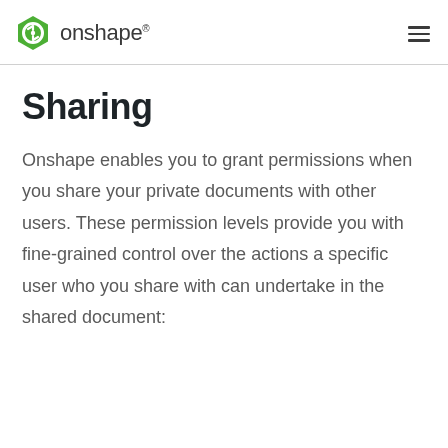onshape®
Sharing
Onshape enables you to grant permissions when you share your private documents with other users. These permission levels provide you with fine-grained control over the actions a specific user who you share with can undertake in the shared document: